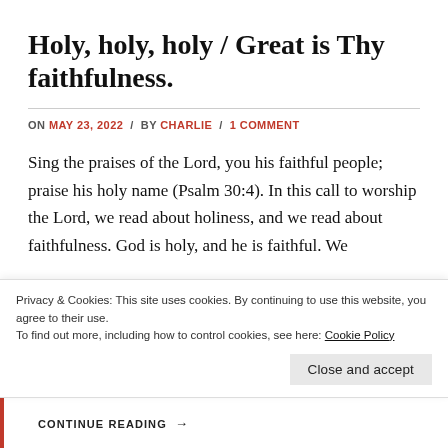Holy, holy, holy / Great is Thy faithfulness.
ON MAY 23, 2022 / BY CHARLIE / 1 COMMENT
Sing the praises of the Lord, you his faithful people; praise his holy name (Psalm 30:4). In this call to worship the Lord, we read about holiness, and we read about faithfulness. God is holy, and he is faithful. We
Privacy & Cookies: This site uses cookies. By continuing to use this website, you agree to their use.
To find out more, including how to control cookies, see here: Cookie Policy
Close and accept
CONTINUE READING →